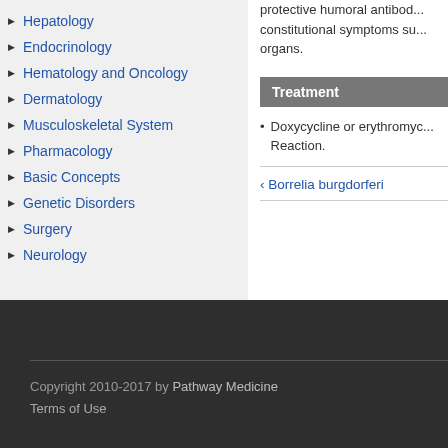Hepatology
Endocrinology
Hematology and Oncology
Dermatology
Musculoskeletal System
Pharmacology
Basic Concepts
Genetic Disorders
Surgery
Neurology
protective humoral antibod... constitutional symptoms su... organs.
Treatment
Doxycycline or erythromyc... Reaction.
‹ Borrelia burgdorferi
Copyright 2010-2017 by Pathway Medicine Terms of Use